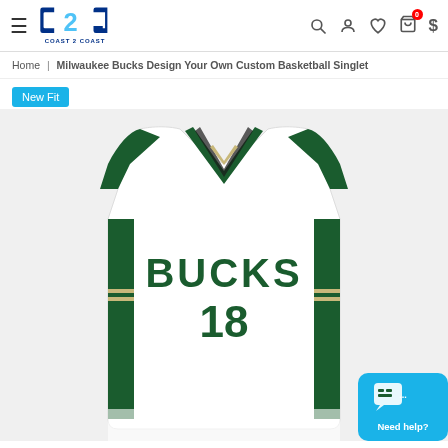Coast 2 Coast — navigation header with logo, search, user, wishlist, cart, currency icons
Home | Milwaukee Bucks Design Your Own Custom Basketball Singlet
New Fit
[Figure (photo): White Milwaukee Bucks custom basketball singlet/jersey with green v-neck collar, green side panels, and 'BUCKS 18' lettering on front]
Need help?